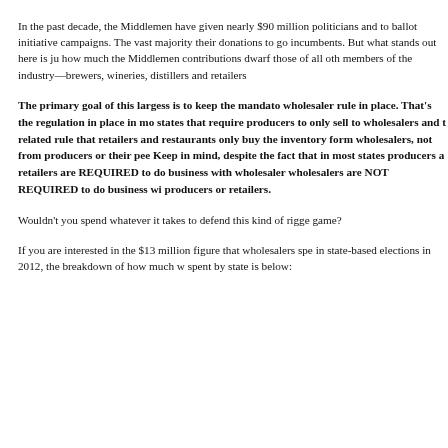In the past decade, the Middlemen have given nearly $90 million politicians and to ballot initiative campaigns. The vast majority their donations to go incumbents. But what stands out here is ju how much the Middlemen contributions dwarf those of all oth members of the industry—brewers, wineries, distillers and retailers
The primary goal of this largess is to keep the mandato wholesaler rule in place. That's the regulation in place in mo states that require producers to only sell to wholesalers and t related rule that retailers and restaurants only buy the inventory form wholesalers, not from producers or their pee Keep in mind, despite the fact that in most states producers a retailers are REQUIRED to do business with wholesaler wholesalers are NOT REQUIRED to do business wi producers or retailers.
Wouldn't you spend whatever it takes to defend this kind of rigg game?
If you are interested in the $13 million figure that wholesalers spe in state-based elections in 2012, the breakdown of how much w spent by state is below: